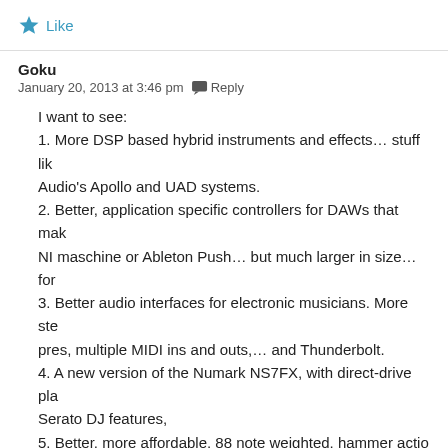Like
Goku
January 20, 2013 at 3:46 pm  Reply
I want to see:
1. More DSP based hybrid instruments and effects... stuff like Universal Audio's Apollo and UAD systems.
2. Better, application specific controllers for DAWs that make use of NI maschine or Ableton Push... but much larger in size... for
3. Better audio interfaces for electronic musicians. More ste pres, multiple MIDI ins and outs,... and Thunderbolt.
4. A new version of the Numark NS7FX, with direct-drive pla Serato DJ features,
5. Better, more affordable, 88 note weighted, hammer actio outs and USB) Kill off the mini-keys and 25 key controllers f
6. A new korg wavedrum that doesn't have the low output is
7. A new version of the M-Audio Ozonic... midi controller key